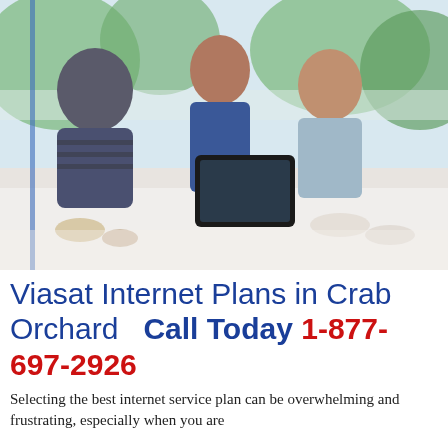[Figure (photo): A family of three — a man, a woman, and a boy — sitting at a table together laughing and looking at a tablet device. Green trees are visible in the background through large windows.]
Viasat Internet Plans in Crab Orchard   Call Today 1-877-697-2926
Selecting the best internet service plan can be overwhelming and frustrating, especially when you are